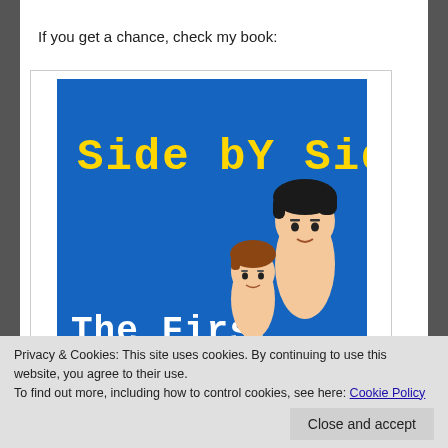If you get a chance, check my book:
[Figure (illustration): Book cover for 'Side by Side: The First' showing two cartoon characters (a tall dark-haired person and a shorter brown-haired child) on a blue background with yellow pixel-style title text 'Side by Side' and white bold text 'The First' at the bottom.]
Privacy & Cookies: This site uses cookies. By continuing to use this website, you agree to their use.
To find out more, including how to control cookies, see here: Cookie Policy
Close and accept